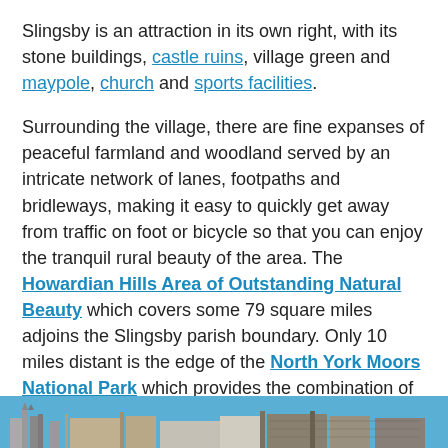Slingsby is an attraction in its own right, with its stone buildings, castle ruins, village green and maypole, church and sports facilities.
Surrounding the village, there are fine expanses of peaceful farmland and woodland served by an intricate network of lanes, footpaths and bridleways, making it easy to quickly get away from traffic on foot or bicycle so that you can enjoy the tranquil rural beauty of the area. The Howardian Hills Area of Outstanding Natural Beauty which covers some 79 square miles adjoins the Slingsby parish boundary. Only 10 miles distant is the edge of the North York Moors National Park which provides the combination of breathtaking scenery and isolation.
[Figure (photo): Bottom strip showing a photo of castle ruins or similar stone architecture against a blue sky]